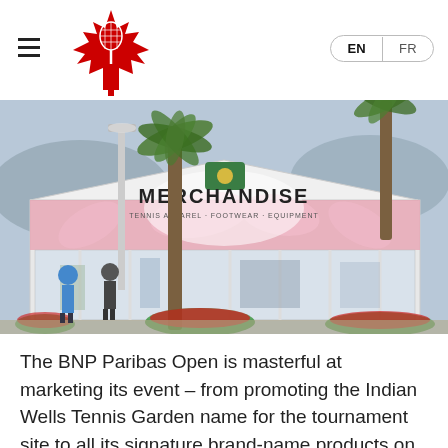Tennis Canada — EN / FR
[Figure (photo): Outdoor merchandise store at the BNP Paribas Open / Indian Wells Tennis Garden. A large white tent-style building bears the word MERCHANDISE on its facade, decorated with pink palm leaf graphics. Red flowers line the entrance, and visitors walk past tall palm trees in the foreground.]
The BNP Paribas Open is masterful at marketing its event – from promoting the Indian Wells Tennis Garden name for the tournament site to all its signature brand-name products on sale for visitors.